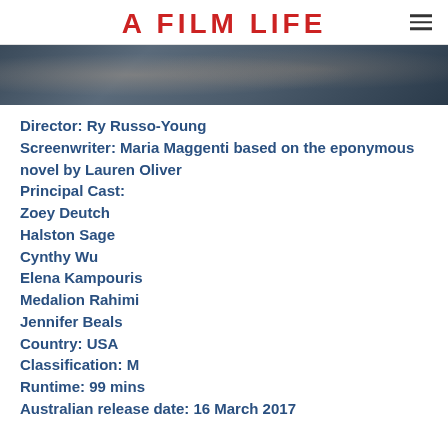A FILM LIFE
[Figure (photo): Dark cinematic still from a film, showing figures in low-light outdoor setting]
Director: Ry Russo-Young
Screenwriter: Maria Maggenti based on the eponymous novel by Lauren Oliver
Principal Cast:
Zoey Deutch
Halston Sage
Cynthy Wu
Elena Kampouris
Medalion Rahimi
Jennifer Beals
Country: USA
Classification: M
Runtime: 99 mins
Australian release date: 16 March 2017